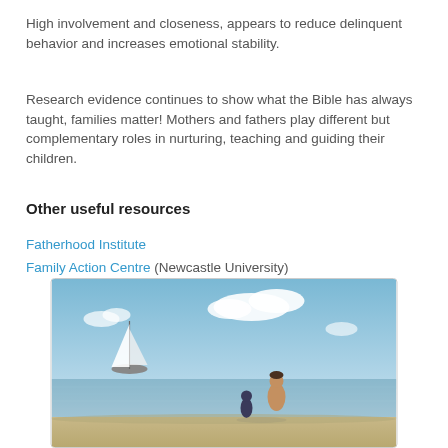High involvement and closeness, appears to reduce delinquent behavior and increases emotional stability.
Research evidence continues to show what the Bible has always taught, families matter! Mothers and fathers play different but complementary roles in nurturing, teaching and guiding their children.
Other useful resources
Fatherhood Institute
Family Action Centre (Newcastle University)
[Figure (photo): A photo of two people (likely a father and child) sitting on a beach looking out at the water, with a sailboat visible in the distance under a partly cloudy blue sky.]